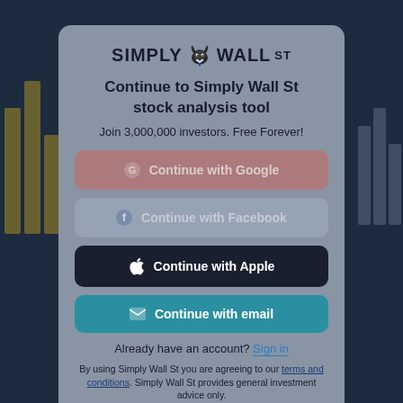[Figure (screenshot): Simply Wall St logo with bull icon]
Continue to Simply Wall St stock analysis tool
Join 3,000,000 investors. Free Forever!
Continue with Google
Continue with Facebook
Continue with Apple
Continue with email
Already have an account? Sign in
By using Simply Wall St you are agreeing to our terms and conditions. Simply Wall St provides general investment advice only.